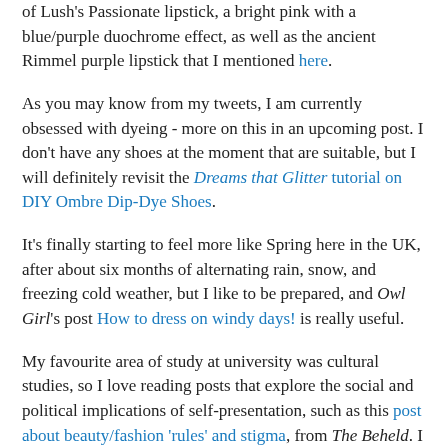of Lush's Passionate lipstick, a bright pink with a blue/purple duochrome effect, as well as the ancient Rimmel purple lipstick that I mentioned here.
As you may know from my tweets, I am currently obsessed with dyeing - more on this in an upcoming post. I don't have any shoes at the moment that are suitable, but I will definitely revisit the Dreams that Glitter tutorial on DIY Ombre Dip-Dye Shoes.
It's finally starting to feel more like Spring here in the UK, after about six months of alternating rain, snow, and freezing cold weather, but I like to be prepared, and Owl Girl's post How to dress on windy days! is really useful.
My favourite area of study at university was cultural studies, so I love reading posts that explore the social and political implications of self-presentation, such as this post about beauty/fashion 'rules' and stigma, from The Beheld. I also enjoy fashion history, and I wanted to visit the 'BIBA and Beyond' exhibition at Brighton Museum and Art Gallery, but never got around to it. It's finished now, so I'll have to settle